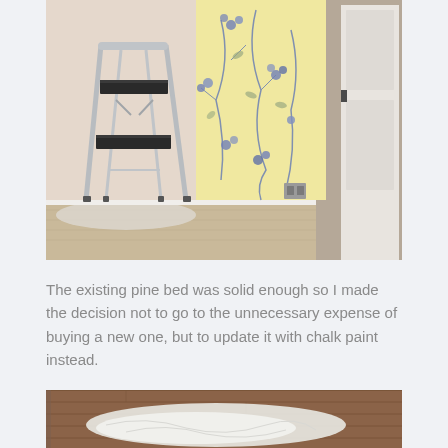[Figure (photo): Interior room photo showing a metal step ladder on the left, a wall with yellow floral wallpaper with blue flower pattern in the center, a white baseboard, an electrical outlet, and a white door on the right. The floor appears to be light wood or laminate with a drop cloth.]
The existing pine bed was solid enough so I made the decision not to go to the unnecessary expense of buying a new one, but to update it with chalk paint instead.
[Figure (photo): Partial photo at the bottom of the page showing a wooden floor and what appears to be a white object, possibly bedding or fabric, on the floor.]